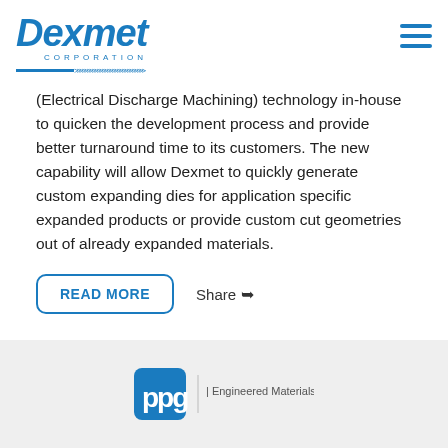Dexmet Corporation
(Electrical Discharge Machining) technology in-house to quicken the development process and provide better turnaround time to its customers. The new capability will allow Dexmet to quickly generate custom expanding dies for application specific expanded products or provide custom cut geometries out of already expanded materials.
READ MORE  Share
[Figure (logo): PPG Engineered Materials logo at the bottom of the page]